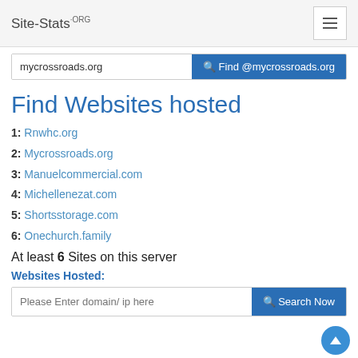Site-Stats.ORG
mycrossroads.org  Find @mycrossroads.org
Find Websites hosted
1: Rnwhc.org
2: Mycrossroads.org
3: Manuelcommercial.com
4: Michellenezat.com
5: Shortsstorage.com
6: Onechurch.family
At least 6 Sites on this server
Websites Hosted:
Please Enter domain/ ip here  Search Now